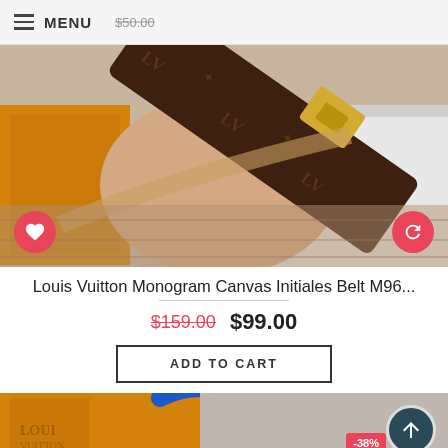MENU $50.00
[Figure (photo): Hand holding a Louis Vuitton Monogram Canvas Initiales Belt with gold LV buckle, orange LV box visible in background, on white surface with wooden floor.]
Louis Vuitton Monogram Canvas Initiales Belt M96...
$159.00  $99.00
ADD TO CART
[Figure (photo): Partial view of a second Louis Vuitton product with orange LV box and blue handle visible, -38% discount badge.]